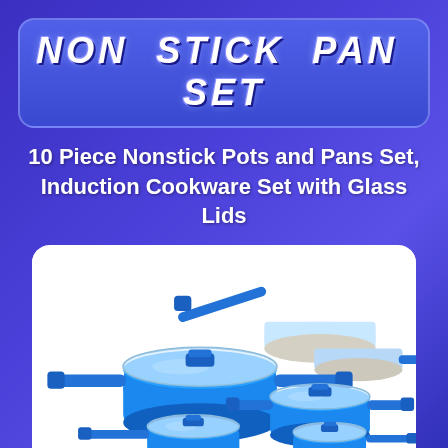NON STICK PAN SET
10 Piece Nonstick Pots and Pans Set, Induction Cookware Set with Glass Lids
[Figure (photo): Blue metallic 10-piece nonstick cookware set with glass lids and cream/white ceramic interior, including pots, pans, and saucepans with blue handles, shown on white background with eBay watermark]